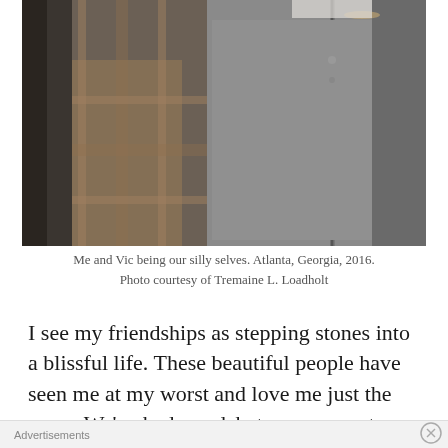[Figure (photo): Close-up photo of two people wearing jackets — one in a plaid/flannel jacket on the left, the other in a grey zip-up hoodie on the right. The image is cropped showing mainly their torsos.]
Me and Vic being our silly selves. Atlanta, Georgia, 2016.
Photo courtesy of Tremaine L. Loadholt
I see my friendships as stepping stones into a blissful life. These beautiful people have seen me at my worst and love me just the same. We've had our debates, arguments, and extreme disagreements, but we've pulled through and came out unscathed. If I can
Advertisements